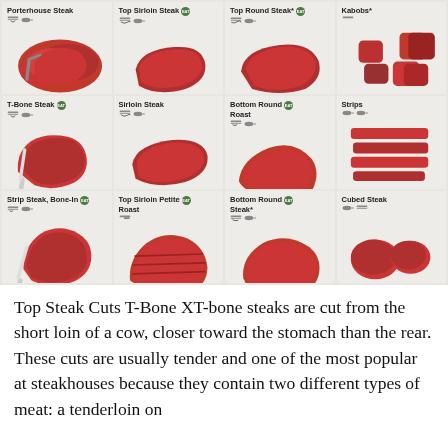[Figure (infographic): Grid of 12 beef cut photos with labels: Porterhouse Steak, Top Sirloin Steak, Top Round Steak*, Kabobs*, T-Bone Steak, Sirloin Steak, Bottom Round Roast, Strips, Strip Steak Bone-In, Top Sirloin Petite Roast, Bottom Round Steak*, Cubed Steak]
Top Steak Cuts T-Bone XT-bone steaks are cut from the short loin of a cow, closer toward the stomach than the rear. These cuts are usually tender and one of the most popular at steakhouses because they contain two different types of meat: a tenderloin on